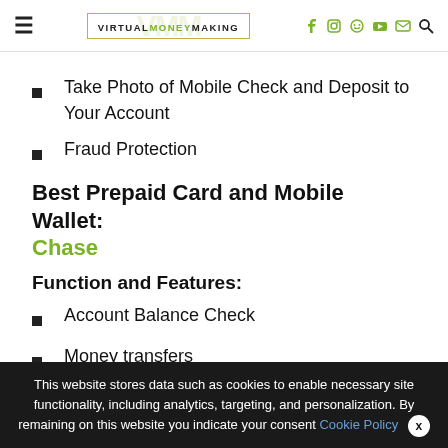VirtualMoneyMaking — site header with navigation icons
Take Photo of Mobile Check and Deposit to Your Account
Fraud Protection
Best Prepaid Card and Mobile Wallet: Chase
Function and Features:
Account Balance Check
Money transfers
Bill pay
This website stores data such as cookies to enable necessary site functionality, including analytics, targeting, and personalization. By remaining on this website you indicate your consent Cookie Policy